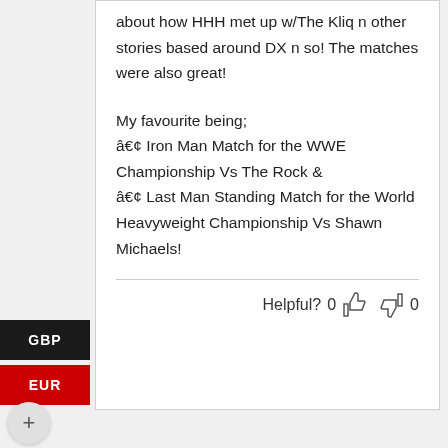about how HHH met up w/The Kliq n other stories based around DX n so! The matches were also great!
My favourite being;
• Iron Man Match for the WWE Championship Vs The Rock &
• Last Man Standing Match for the World Heavyweight Championship Vs Shawn Michaels!
Helpful? 0 👍 👎 0